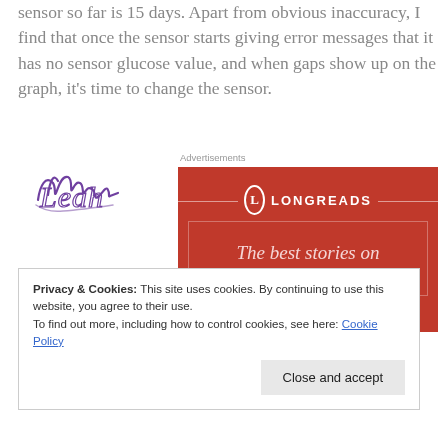sensor so far is 15 days. Apart from obvious inaccuracy, I find that once the sensor starts giving error messages that it has no sensor glucose value, and when gaps show up on the graph, it's time to change the sensor.
[Figure (illustration): Handwritten cursive signature 'Leah' in purple ink]
Advertisements
[Figure (other): Longreads advertisement banner with red background showing logo and tagline 'The best stories on the web – ours, and']
Privacy & Cookies: This site uses cookies. By continuing to use this website, you agree to their use.
To find out more, including how to control cookies, see here: Cookie Policy